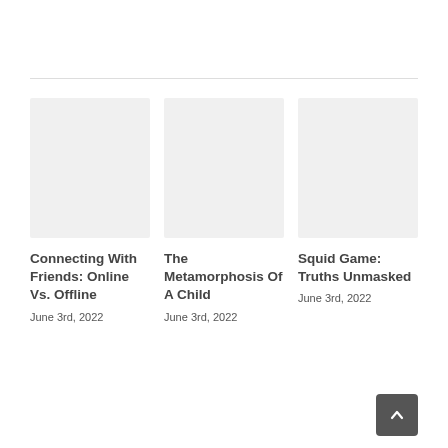[Figure (illustration): Placeholder image box for article 1]
Connecting With Friends: Online Vs. Offline
June 3rd, 2022
[Figure (illustration): Placeholder image box for article 2]
The Metamorphosis Of A Child
June 3rd, 2022
[Figure (illustration): Placeholder image box for article 3]
Squid Game: Truths Unmasked
June 3rd, 2022